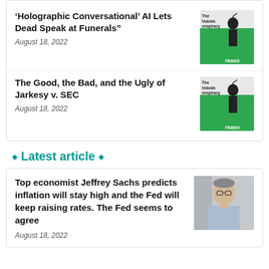‘Holographic Conversational’ AI Lets Dead Speak at Funerals”
August 18, 2022
[Figure (illustration): Volokh Conspiracy / Reason magazine cover thumbnail with figure holding a scale]
The Good, the Bad, and the Ugly of Jarkesy v. SEC
August 18, 2022
[Figure (illustration): Volokh Conspiracy / Reason magazine cover thumbnail with figure holding a scale]
Latest article
Top economist Jeffrey Sachs predicts inflation will stay high and the Fed will keep raising rates. The Fed seems to agree
August 18, 2022
[Figure (photo): Photo of Jeffrey Sachs, an older man with glasses in a light blue shirt, hand on chin]